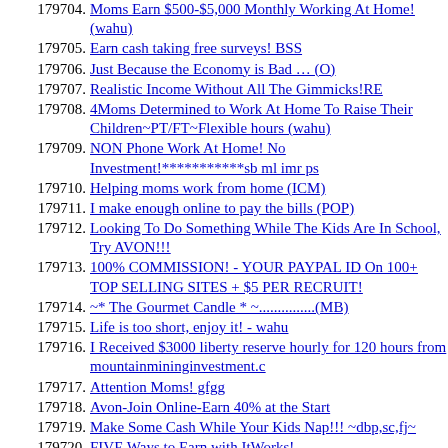179704. Moms Earn $500-$5,000 Monthly Working At Home! (wahu)
179705. Earn cash taking free surveys! BSS
179706. Just Because the Economy is Bad … (O)
179707. Realistic Income Without All The Gimmicks!RE
179708. 4Moms Determined to Work At Home To Raise Their Children~PT/FT~Flexible hours (wahu)
179709. NON Phone Work At Home! No Investment!***********sb ml imr ps
179710. Helping moms work from home (ICM)
179711. I make enough online to pay the bills (POP)
179712. Looking To Do Something While The Kids Are In School, Try AVON!!!
179713. 100% COMMISSION! - YOUR PAYPAL ID On 100+ TOP SELLING SITES + $5 PER RECRUIT!
179714. ~* The Gourmet Candle * ~...............(MB)
179715. Life is too short, enjoy it! - wahu
179716. I Received $3000 liberty reserve hourly for 120 hours from mountainmininginvestment.c
179717. Attention Moms! gfgg
179718. Avon-Join Online-Earn 40% at the Start
179719. Make Some Cash While Your Kids Nap!!! ~dbp,sc,fj~
179720. FIVE Ways to Earn with ItWorks!
179721. ScribeSeeker.com for Freelance Writers
179722. Share the Gift of the Earth! D